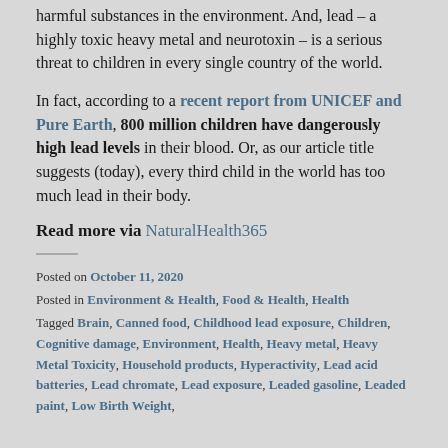harmful substances in the environment.  And, lead – a highly toxic heavy metal and neurotoxin – is a serious threat to children in every single country of the world.
In fact, according to a recent report from UNICEF and Pure Earth, 800 million children have dangerously high lead levels in their blood.  Or, as our article title suggests (today), every third child in the world has too much lead in their body.
Read more via NaturalHealth365
Posted on October 11, 2020
Posted in Environment & Health, Food & Health, Health
Tagged Brain, Canned food, Childhood lead exposure, Children, Cognitive damage, Environment, Health, Heavy metal, Heavy Metal Toxicity, Household products, Hyperactivity, Lead acid batteries, Lead chromate, Lead exposure, Leaded gasoline, Leaded paint, Low Birth Weight,